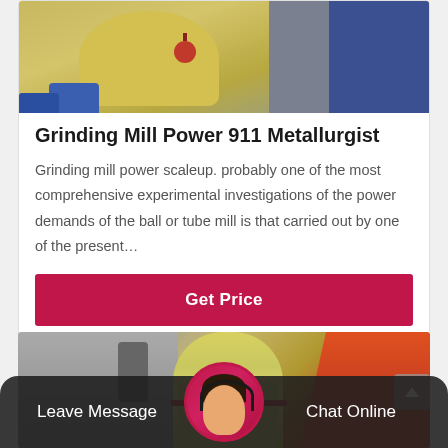[Figure (photo): Yellow grinding mill equipment in an industrial setting, viewed from above/side angle]
Grinding Mill Power 911 Metallurgist
Grinding mill power scaleup. probably one of the most comprehensive experimental investigations of the power demands of the ball or tube mill is that carried out by one of the present…
Get Price
[Figure (photo): Industrial grinding mill equipment showing cream/yellow and orange conical mills in a factory setting]
Leave Message
Chat Online